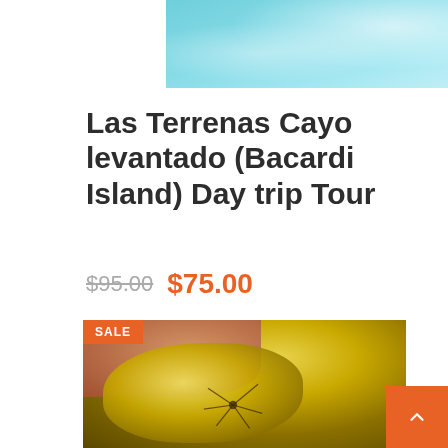[Figure (photo): Turquoise blue water surface with light reflections, top portion of a product listing page]
Las Terrenas Cayo levantado (Bacardi Island) Day trip Tour
$95.00  $75.00
[Figure (photo): Close-up photo of a piece of amber with an insect (spider) inclusion being held between fingers, with a SALE badge overlay in the top-left corner]